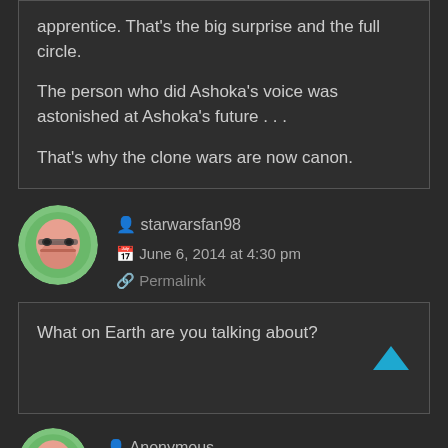apprentice. That's the big surprise and the full circle.

The person who did Ashoka's voice was astonished at Ashoka's future . . .

That's why the clone wars are now canon.
starwarsfan98
June 6, 2014 at 4:30 pm
Permalink
What on Earth are you talking about?
Anonymous
May 29, 2014 at 4:40 am